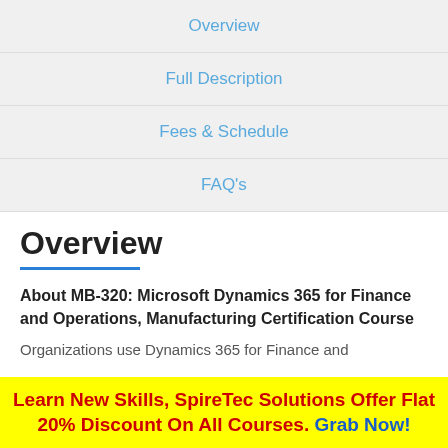Overview
Full Description
Fees & Schedule
FAQ's
Overview
About MB-320: Microsoft Dynamics 365 for Finance and Operations, Manufacturing Certification Course
Organizations use Dynamics 365 for Finance and
Learn New Skills, SpireTec Solutions Offer Flat 20% Discount On All Courses. Grab Now!